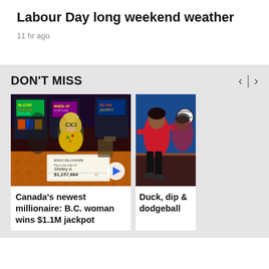Labour Day long weekend weather
11 hr ago
DON'T MISS
[Figure (photo): Woman holding a large cheque for $1,157,664 at a casino with slot machines in background]
Canada's newest millionaire: B.C. woman wins $1.1M jackpot
[Figure (photo): Person in red jersey catching or throwing a dodgeball, another person visible in background]
Duck, dip & dodgeball